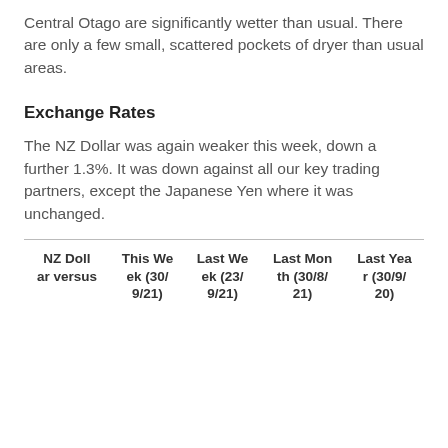Central Otago are significantly wetter than usual. There are only a few small, scattered pockets of dryer than usual areas.
Exchange Rates
The NZ Dollar was again weaker this week, down a further 1.3%. It was down against all our key trading partners, except the Japanese Yen where it was unchanged.
| NZ Dollar versus | This Week (30/9/21) | Last Week (23/9/21) | Last Month (30/8/21) | Last Year (30/9/20) |
| --- | --- | --- | --- | --- |